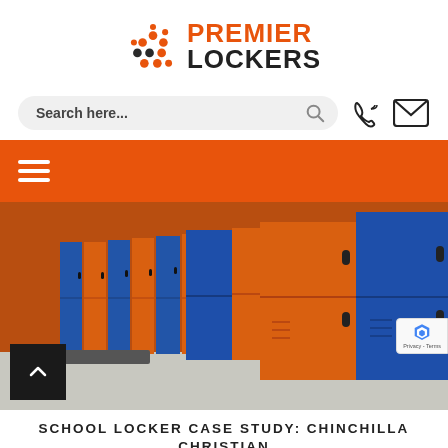[Figure (logo): Premier Lockers logo with orange dot-pattern icon and text 'PREMIER LOCKERS' in orange and black]
[Figure (screenshot): Search bar with 'Search here...' placeholder, search icon, phone icon, and email icon on white background]
[Figure (screenshot): Orange navigation bar with white hamburger menu icon on left]
[Figure (photo): Row of blue and orange school lockers installed outdoors against an orange wall, with concrete floor]
SCHOOL LOCKER CASE STUDY: CHINCHILLA CHRISTIAN COLLEGE